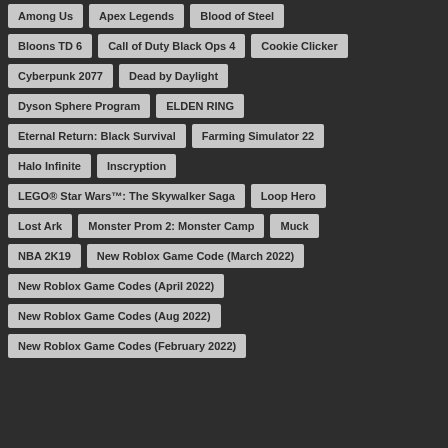Among Us
Apex Legends
Blood of Steel
Bloons TD 6
Call of Duty Black Ops 4
Cookie Clicker
Cyberpunk 2077
Dead by Daylight
Dyson Sphere Program
ELDEN RING
Eternal Return: Black Survival
Farming Simulator 22
Halo Infinite
Inscryption
LEGO® Star Wars™: The Skywalker Saga
Loop Hero
Lost Ark
Monster Prom 2: Monster Camp
Muck
NBA 2K19
New Roblox Game Code (March 2022)
New Roblox Game Codes (April 2022)
New Roblox Game Codes (Aug 2022)
New Roblox Game Codes (February 2022)